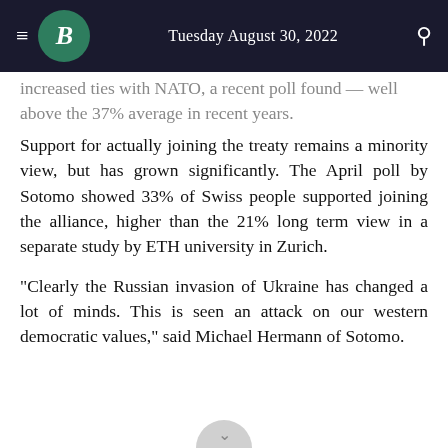Tuesday August 30, 2022
increased ties with NATO, a recent poll found — well above the 37% average in recent years.
Support for actually joining the treaty remains a minority view, but has grown significantly. The April poll by Sotomo showed 33% of Swiss people supported joining the alliance, higher than the 21% long term view in a separate study by ETH university in Zurich.
"Clearly the Russian invasion of Ukraine has changed a lot of minds. This is seen an attack on our western democratic values," said Michael Hermann of Sotomo.